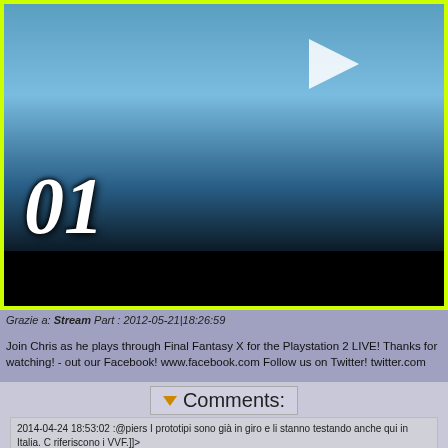[Figure (screenshot): Video player screenshot showing a game character (Final Fantasy X) with number '01' displayed, play button triangle, yellow-green border, and black bar at bottom]
Grazie a: Stream Part : 2012-05-21|18:26:59
Join Chris as he plays through Final Fantasy X for the Playstation 2 LIVE! Thanks for watching! - out our Facebook! www.facebook.com Follow us on Twitter! twitter.com
Comments:
2014-04-24 18:53:02 :@piers I prototipi sono già in giro e li stanno testando anche qui in Italia. C riferiscono i VVF.]]>
http://www.omniaflex.it/?g=Fabbrica-Materassi
write your comment...
Url:  Post